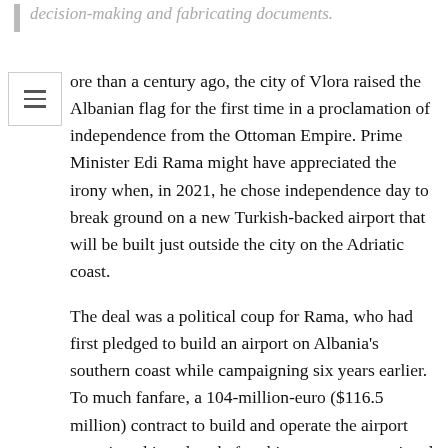decision-making and fabricating documents.
ore than a century ago, the city of Vlora raised the Albanian flag for the first time in a proclamation of independence from the Ottoman Empire. Prime Minister Edi Rama might have appreciated the irony when, in 2021, he chose independence day to break ground on a new Turkish-backed airport that will be built just outside the city on the Adriatic coast.
The deal was a political coup for Rama, who had first pledged to build an airport on Albania's southern coast while campaigning six years earlier. To much fanfare, a 104-million-euro ($116.5 million) contract to build and operate the airport was signed just days before his party swept national polls in April last year, in a move the opposition said had violated election laws.